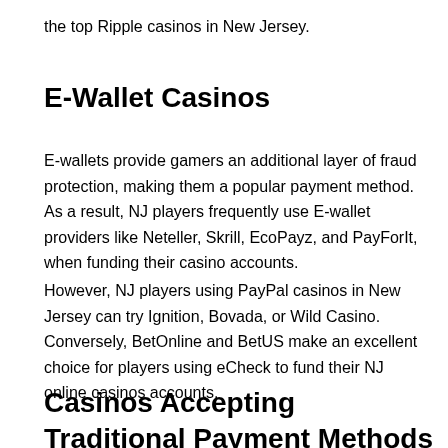the top Ripple casinos in New Jersey.
E-Wallet Casinos
E-wallets provide gamers an additional layer of fraud protection, making them a popular payment method. As a result, NJ players frequently use E-wallet providers like Neteller, Skrill, EcoPayz, and PayForIt, when funding their casino accounts.
However, NJ players using PayPal casinos in New Jersey can try Ignition, Bovada, or Wild Casino. Conversely, BetOnline and BetUS make an excellent choice for players using eCheck to fund their NJ online casinos accounts.
Casinos Accepting Traditional Payment Methods